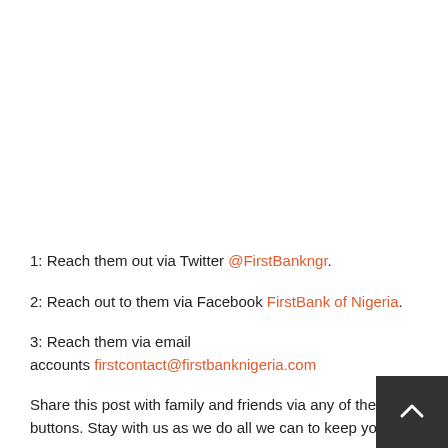1: Reach them out via Twitter @FirstBankngr.
2: Reach out to them via Facebook FirstBank of Nigeria.
3: Reach them via email accounts firstcontact@firstbanknigeria.com
Share this post with family and friends via any of the sh... buttons. Stay with us as we do all we can to keep you